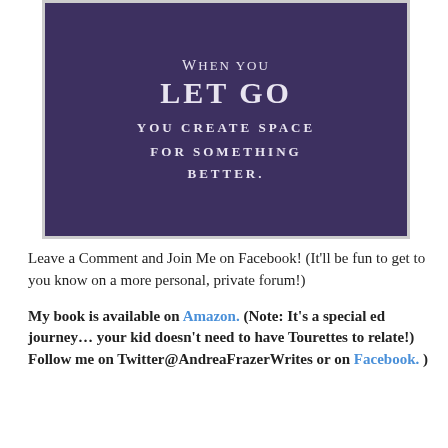[Figure (illustration): Dark purple/indigo background with white text quote: 'When you LET GO you create space for something better.']
Leave a Comment and Join Me on Facebook! (It'll be fun to get to you know on a more personal, private forum!)
My book is available on Amazon. (Note: It's a special ed journey… your kid doesn't need to have Tourettes to relate!) Follow me on Twitter@AndreaFrazerWrites or on Facebook. )